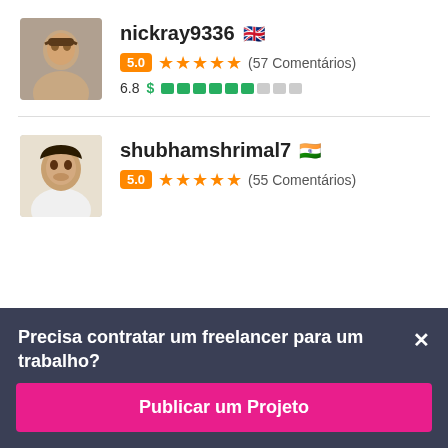[Figure (photo): Profile photo of user nickray9336, male portrait]
nickray9336 🇬🇧
5.0 ★★★★★ (57 Comentários)
6.8 $ ▓▓▓▓▓▓░░░
[Figure (photo): Profile photo of user shubhamshrimal7, male portrait]
shubhamshrimal7 🇮🇳
5.0 ★★★★★ (55 Comentários)
Precisa contratar um freelancer para um trabalho?
Publicar um Projeto